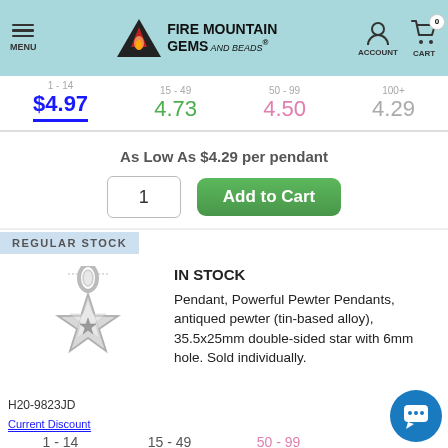Fire Mountain Gems and Beads — MENU | ACCOUNT | CART 0
$4.97   4.73   4.50   4.29
As Low As $4.29 per pendant
1   Add to Cart
REGULAR STOCK
[Figure (photo): Antiqued pewter double-sided star pendant, 35.5x25mm with 6mm hole]
IN STOCK
Pendant, Powerful Pewter Pendants, antiqued pewter (tin-based alloy), 35.5x25mm double-sided star with 6mm hole. Sold individually.
H20-9823JD
Current Discount
1 - 14   15 - 49   50 - 99
$4.97   4.73   4.50   4